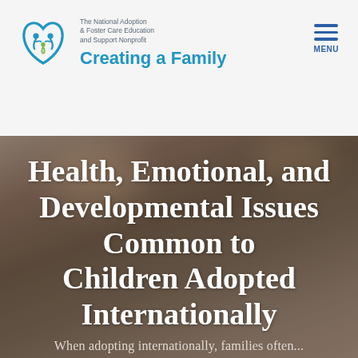[Figure (logo): Creating a Family logo — heart/family icon in blue and green with tagline 'The National Adoption & Foster Care Education and Support Nonprofit' and organization name 'Creating a Family' in blue]
[Figure (other): Hamburger menu icon (three horizontal blue lines) with label MENU below]
[Figure (photo): Blurred warm-toned background photo (appears to be an indoor scene with soft focus)]
Health, Emotional, and Developmental Issues Common to Children Adopted Internationally
When adopting internationally, families often...